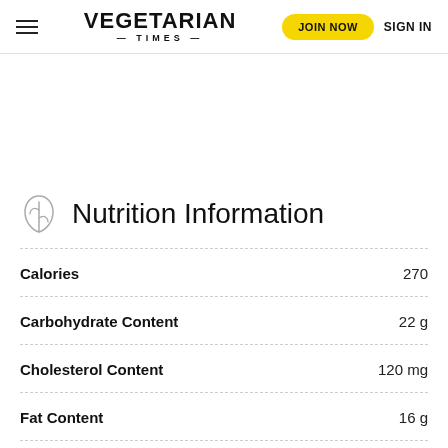VEGETARIAN TIMES | JOIN NOW | SIGN IN
Nutrition Information
| Nutrient | Value |
| --- | --- |
| Calories | 270 |
| Carbohydrate Content | 22 g |
| Cholesterol Content | 120 mg |
| Fat Content | 16 g |